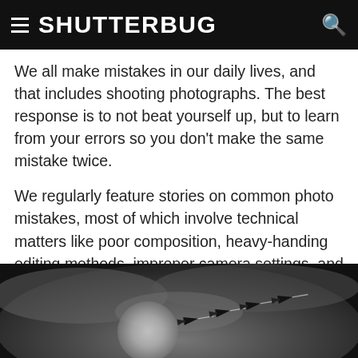SHUTTERBUG
We all make mistakes in our daily lives, and that includes shooting photographs. The best response is to not beat yourself up, but to learn from your errors so you don't make the same mistake twice.
We regularly feature stories on common photo mistakes, most of which involve technical matters like poor composition, heavy-handing editing methods, improper camera settings, and the like. But these issues are all part of the natural learning curve and are to be expected.
[Figure (photo): Black and white photo of four jet aircraft flying in formation through cloudy sky with a bright circular light source (sun or moon) visible in the background]